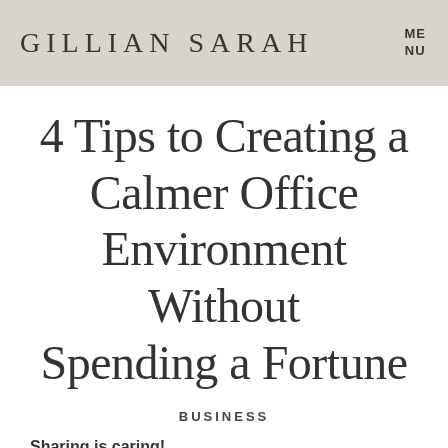GILLIAN SARAH | MENU
4 Tips to Creating a Calmer Office Environment Without Spending a Fortune
BUSINESS
Sharing is caring!